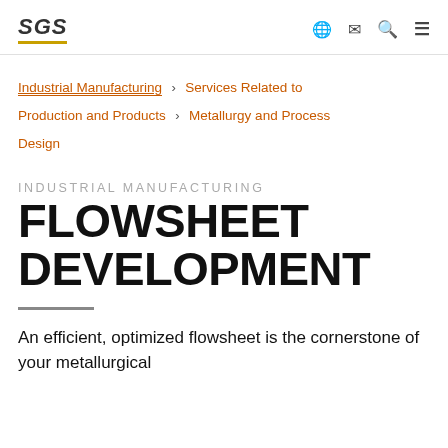SGS | Industrial Manufacturing › Services Related to Production and Products › Metallurgy and Process Design
Industrial Manufacturing › Services Related to Production and Products › Metallurgy and Process Design
INDUSTRIAL MANUFACTURING
FLOWSHEET DEVELOPMENT
An efficient, optimized flowsheet is the cornerstone of your metallurgical